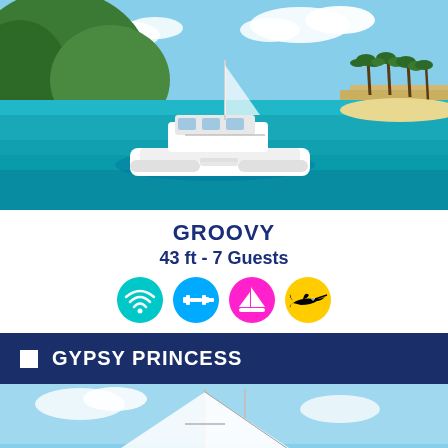[Figure (photo): A white catamaran sailing in clear turquoise water near a tropical island with palm trees and green hills under a partly cloudy blue sky.]
GROOVY
43 ft - 7 Guests
[Figure (infographic): Four circular icons: teal wifi icon, blue dumbbell/gym icon, pink sailboat icon, yellow marlin/fish icon.]
GYPSY PRINCESS
[Figure (photo): A large white sailing catamaran with tall white sails, viewed from behind-side, with people on deck, sailing on blue water under a blue sky.]